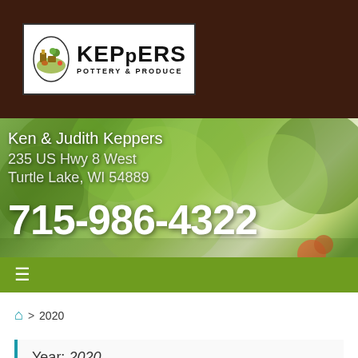[Figure (logo): Keppers Pottery & Produce logo with oval illustration and text on dark brown background header]
[Figure (photo): Background photo of green trees/foliage with contact info overlaid]
Ken & Judith Keppers
235 US Hwy 8 West
Turtle Lake, WI 54889
715-986-4322
[Figure (infographic): Olive green navigation bar with hamburger menu icon]
Home > 2020
Year: 2020